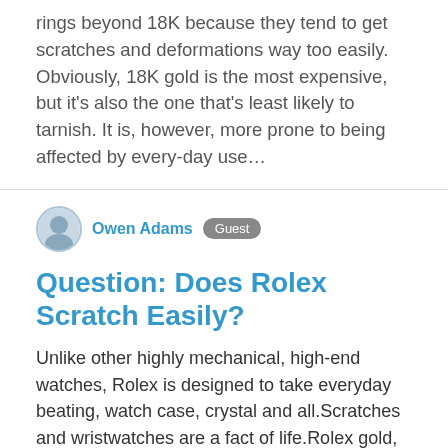rings beyond 18K because they tend to get scratches and deformations way too easily. Obviously, 18K gold is the most expensive, but it's also the one that's least likely to tarnish. It is, however, more prone to being affected by every-day use…
Owen Adams  Guest
Question: Does Rolex Scratch Easily?
Unlike other highly mechanical, high-end watches, Rolex is designed to take everyday beating, watch case, crystal and all.Scratches and wristwatches are a fact of life.Rolex gold, platinum, and 904L stainless steel does scratch with day-to-day use. Are Rolex scratch resistant? Without question, Rolex watches are know for being one of the